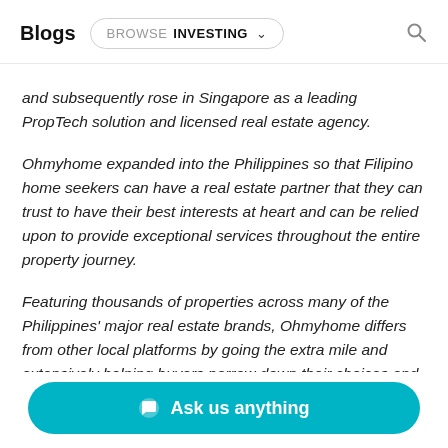Blogs  BROWSE  INVESTING
and subsequently rose in Singapore as a leading PropTech solution and licensed real estate agency.
Ohmyhome expanded into the Philippines so that Filipino home seekers can have a real estate partner that they can trust to have their best interests at heart and can be relied upon to provide exceptional services throughout the entire property journey.
Featuring thousands of properties across many of the Philippines' major real estate brands, Ohmyhome differs from other local platforms by going the extra mile and extensively helping buyers narrow down their choices and find the property that best suits their budgets, home needs, and lifestyle.
Ask us anything